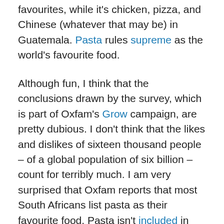favourites, while it's chicken, pizza, and Chinese (whatever that may be) in Guatemala. Pasta rules supreme as the world's favourite food.
Although fun, I think that the conclusions drawn by the survey, which is part of Oxfam's Grow campaign, are pretty dubious. I don't think that the likes and dislikes of sixteen thousand people – of a global population of six billion – count for terribly much. I am very surprised that Oxfam reports that most South Africans list pasta as their favourite food. Pasta isn't included in the Medical Research Council's list of the most widely foods consumed in South Africa – the top five of which are maize meal, white sugar, tea, bread, and milk. It seems to me that the people included in this survey were mainly middle-class urban dwellers – precisely the people who would list pizza, pasta, and steak as their favourite food.